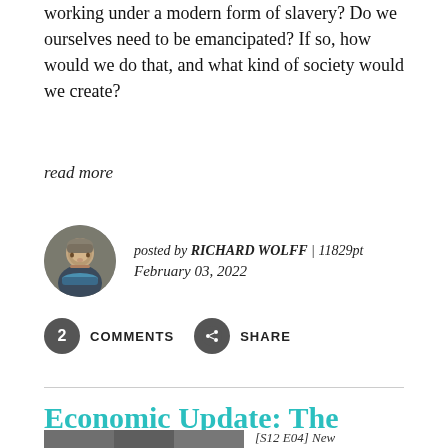working under a modern form of slavery? Do we ourselves need to be emancipated? If so, how would we do that, and what kind of society would we create?
read more
posted by RICHARD WOLFF | 11829pt
February 03, 2022
2 COMMENTS
SHARE
Economic Update: The Socialism Issue
[S12 E04] New